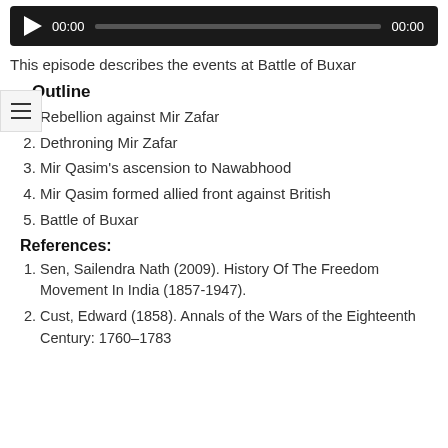[Figure (other): Audio player with play button, 00:00 start time, progress bar, and 00:00 end time on dark background]
This episode describes the events at Battle of Buxar
Outline
Rebellion against Mir Zafar
Dethroning Mir Zafar
Mir Qasim's ascension to Nawabhood
Mir Qasim formed allied front against British
Battle of Buxar
References:
Sen, Sailendra Nath (2009). History Of The Freedom Movement In India (1857-1947).
Cust, Edward (1858). Annals of the Wars of the Eighteenth Century: 1760–1783